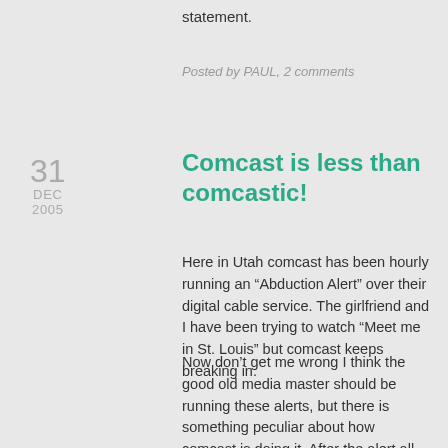statement.
Posted by PAUL, 2 comments
31 DEC 2005
Comcast is less than comcastic!
Here in Utah comcast has been hourly running an “Abduction Alert” over their digital cable service. The girlfriend and I have been trying to watch “Meet me in St. Louis” but comcast keeps breaking in.
Now don’t get me wrong I think the good old media master should be running these alerts, but there is something peculiar about how comcast is doing it. After the alert all programing switches to KSTU Fox 13. Fox sucks, and Fox 13 especially sucks.